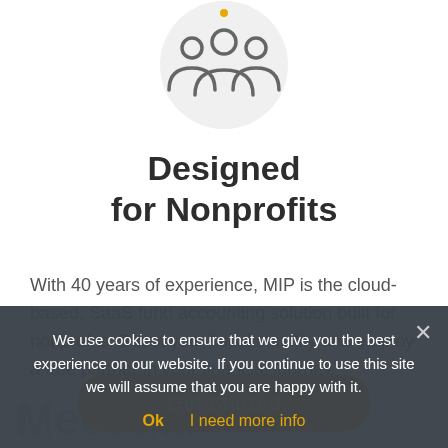[Figure (illustration): Gray circle with a group/team icon showing three people figures, with a small orange dot accent at the top center]
Designed for Nonprofits
With 40 years of experience, MIP is the cloud-based, SaaS fund accounting solution built for nonprofits. Boost your fiscal stability and employ a true partner in your financial journey.
Get Started
Meet MIP
We use cookies to ensure that we give you the best experience on our website. If you continue to use this site we will assume that you are happy with it.
Ok   I need more info